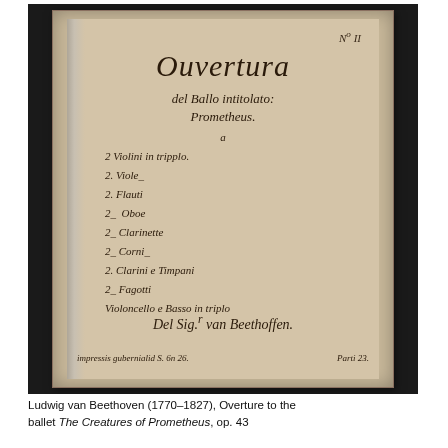[Figure (photo): Photograph of an aged manuscript page, yellowed and worn. The manuscript title page reads: 'Ouvertura del Ballo intitolato: Prometheus.' with a list of instruments including '2 Violini in tripplo, 2 Viole, 2 Flauti, 2 Oboe, 2 Clarinette, 2 Corni, 2 Clarini e Timpani, 2 Fagotti, Violoncello e Basso in triplo'. At the bottom: 'Del Sig.r van Beethoffen.' and 'Parti 23.' The manuscript number 'No II' appears in the upper right corner.]
Ludwig van Beethoven (1770–1827), Overture to the ballet The Creatures of Prometheus, op. 43